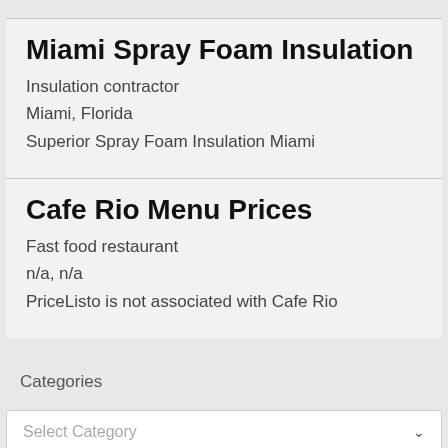Miami Spray Foam Insulation
Insulation contractor
Miami, Florida
Superior Spray Foam Insulation Miami
Cafe Rio Menu Prices
Fast food restaurant
n/a, n/a
PriceListo is not associated with Cafe Rio
Categories
Select Category